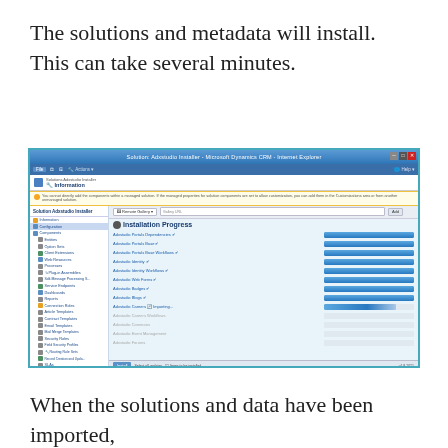The solutions and metadata will install.  This can take several minutes.
[Figure (screenshot): Screenshot of Solution: Adxstudio Installer - Microsoft Dynamics CRM - Internet Explorer showing Installation Progress panel with multiple items listed (Adxstudio Portals Dependencies, Adxstudio Portals Base, Adxstudio Portals Base Workflows, Adxstudio Identity, Adxstudio Identity Workflows, Adxstudio Web Forms, Adxstudio Badges, Adxstudio Blogs, Adxstudio Careers Importing...) with blue progress bars next to each completed or in-progress item.]
When the solutions and data have been imported,